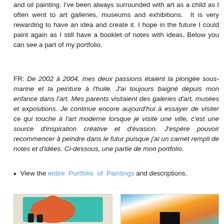and oil painting. I've been always surrounded with art as a child as I often went to art galleries, museums and exhibitions. It is very rewarding to have an idea and create it. I hope in the future I could paint again as I still have a booklet of notes with ideas. Below you can see a part of my portfolio.
FR: De 2002 à 2004, mes deux passions étaient la plongée sous-marine et la peinture à l'huile. J'ai toujours baigné depuis mon enfance dans l'art. Mes parents visitaient des galeries d'art, musées et expositions. Je continue encore aujourd'hui à essayer de visiter ce qui touche à l'art moderne lorsque je visite une ville, c'est une source d'inspiration créative et d'évasion. J'espère pouvoir recommencer à peindre dans le futur puisque j'ai un carnet rempli de notes et d'idées. Ci-dessous, une partie de mon portfolio.
View the entire Portfolio of Paintings and descriptions.
[Figure (photo): Painting of a stylized orange/red elephant on a teal/green background]
[Figure (photo): Abstract painting with swirling blue, orange, and yellow colors]